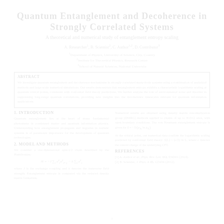Quantum Entanglement and Decoherence in Strongly Correlated Systems
A theoretical and numerical study of entanglement entropy scaling
A. Researcher¹, B. Scientist², C. Author¹·², D. Contributor³
¹Department of Physics, University of Science, City, Country
²Institute for Theoretical Physics, Research Center
³School of Natural Sciences, National University
Abstract
We investigate quantum entanglement and decoherence mechanisms in strongly correlated many-body systems using a combination of analytical methods and large-scale numerical simulations. Our results demonstrate that entanglement entropy exhibits a characteristic logarithmic scaling at quantum critical points, consistent with conformal field theory predictions. We further analyze the role of environmental noise and disorder in suppressing long-range quantum correlations, providing new insights into the decoherence timescales relevant for quantum information applications.
1. Introduction
Quantum entanglement lies at the heart of many fundamental phenomena in condensed matter and quantum information physics. Understanding how entanglement propagates and degrades in realistic systems is of paramount importance for the development of quantum technologies.
2. Model and Methods
We consider a one-dimensional spin-1/2 chain described by the Hamiltonian:
where J is the exchange coupling and h denotes the transverse field strength. Entanglement entropy is computed via the reduced density matrix formalism.
Numerical results are obtained using density matrix renormalization group (DMRG) methods applied to chains of up to N=512 sites, with open boundary conditions.
References
[1] A. Author et al., Phys. Rev. Lett. 112, 034501 (2014).
[2] B. Scientist, J. Phys. A 45, 123456 (2012).